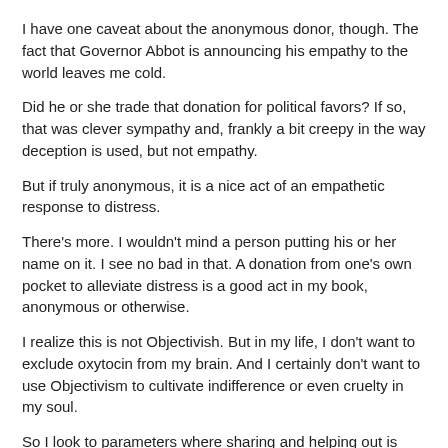I have one caveat about the anonymous donor, though. The fact that Governor Abbot is announcing his empathy to the world leaves me cold.
Did he or she trade that donation for political favors? If so, that was clever sympathy and, frankly a bit creepy in the way deception is used, but not empathy.
But if truly anonymous, it is a nice act of an empathetic response to distress.
There's more. I wouldn't mind a person putting his or her name on it. I see no bad in that. A donation from one's own pocket to alleviate distress is a good act in my book, anonymous or otherwise.
I realize this is not Objectivish. But in my life, I don't want to exclude oxytocin from my brain. And I certainly don't want to use Objectivism to cultivate indifference or even cruelty in my soul.
So I look to parameters where sharing and helping out is productive and to other parameters where altruism is a spider's web with bait weaved by predators as Ayn Rand warns.